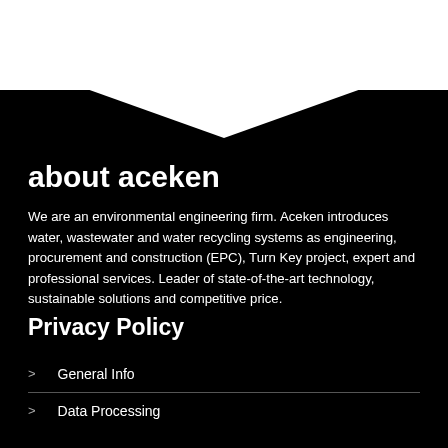[Figure (other): White header bar with hamburger menu icon at top right]
[Figure (other): Black chevron/V-shape divider between white header and black content area]
about aceken
We are an environmental engineering firm. Aceken introduces water, wastewater and water recycling systems as engineering, procurement and construction (EPC), Turn Key project, expert and professional services. Leader of state-of-the-art technology, sustainable solutions and competitive price.
Privacy Policy
General Info
Data Processing